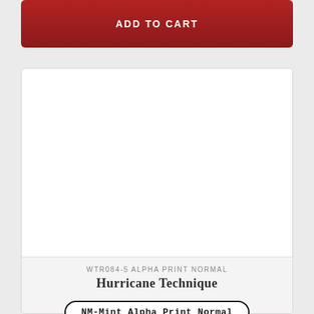ADD TO CART
[Figure (other): Empty white product image placeholder area]
WTR084-5 ALPHA PRINT NORMAL
Hurricane Technique
NM-Mint Alpha Print Normal
$15.99 USD